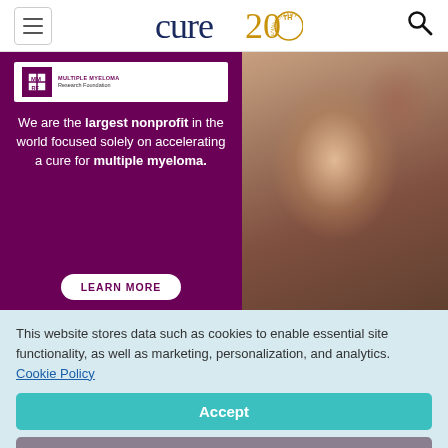[Figure (logo): CURE 20th Anniversary logo — dark blue 'cure' text with gold '20' and anniversary badge]
[Figure (infographic): Multiple Myeloma Research Foundation advertisement banner. Left side purple background with MMRF logo and text: 'We are the largest nonprofit in the world focused solely on accelerating a cure for multiple myeloma.' with a LEARN MORE button. Right side shows a photo of two women smiling and embracing.]
This website stores data such as cookies to enable essential site functionality, as well as marketing, personalization, and analytics. Cookie Policy
Accept
Deny